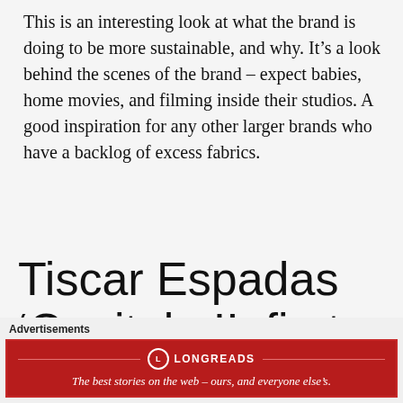This is an interesting look at what the brand is doing to be more sustainable, and why. It's a look behind the scenes of the brand – expect babies, home movies, and filming inside their studios. A good inspiration for any other larger brands who have a backlog of excess fabrics.
Tiscar Espadas 'Capitulo II, first act'
Of b...
[Figure (other): Close button (circled X) overlay on the right side]
Advertisements
[Figure (logo): Longreads advertisement banner: red background with Longreads logo and tagline 'The best stories on the web – ours, and everyone else's.']